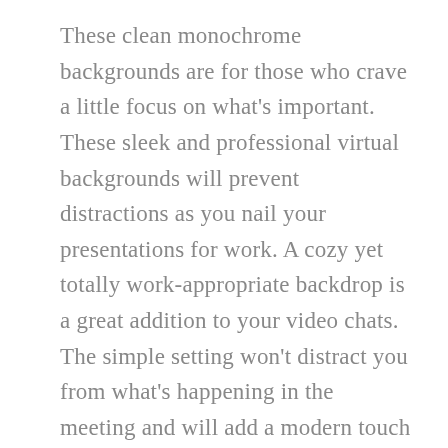These clean monochrome backgrounds are for those who crave a little focus on what's important. These sleek and professional virtual backgrounds will prevent distractions as you nail your presentations for work. A cozy yet totally work-appropriate backdrop is a great addition to your video chats. The simple setting won't distract you from what's happening in the meeting and will add a modern touch to your backdrop. Adding colors and patterns on your walls can have a transformative effect in your home. Abstract art is bright, bold, and unafraid of making a statement. If that describes you, showcase your favorite abstract art by mounting it and